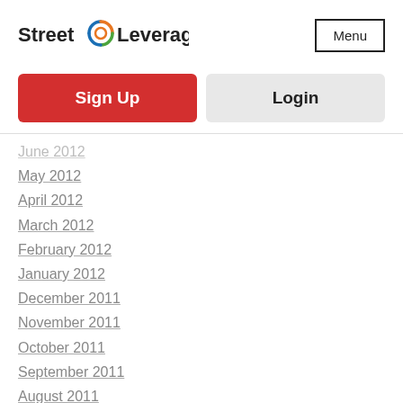[Figure (logo): Street Leverage logo with circular icon and text]
Menu
Sign Up
Login
June 2012
May 2012
April 2012
March 2012
February 2012
January 2012
December 2011
November 2011
October 2011
September 2011
August 2011
Categories